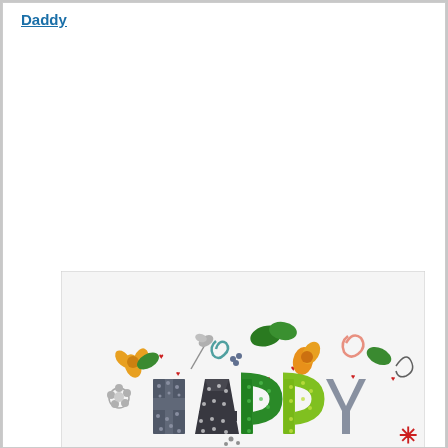Daddy
[Figure (illustration): Colorful 'HAPPY' greeting card illustration with decorative floral elements, leaves, swirls, hearts, and stylized patterned lettering in gray, green, and lime colors]